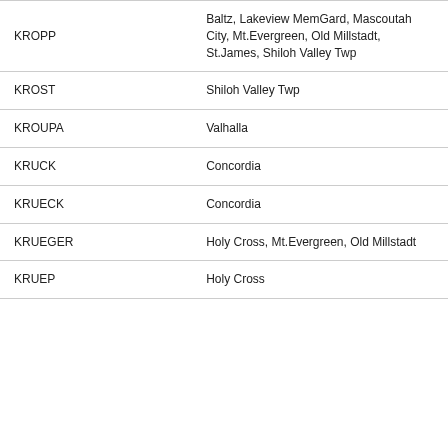| Name | Location |
| --- | --- |
| KROPP | Baltz, Lakeview MemGard, Mascoutah City, Mt.Evergreen, Old Millstadt, St.James, Shiloh Valley Twp |
| KROST | Shiloh Valley Twp |
| KROUPA | Valhalla |
| KRUCK | Concordia |
| KRUECK | Concordia |
| KRUEGER | Holy Cross, Mt.Evergreen, Old Millstadt |
| KRUEP | Holy Cross |